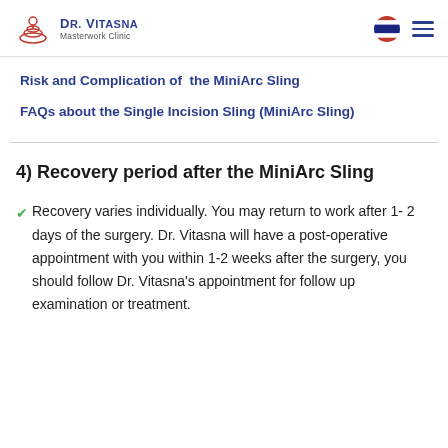Dr. Vitasna Masterwork Clinic
Risk and Complication of the MiniArc Sling
FAQs about the Single Incision Sling (MiniArc Sling)
4) Recovery period after the MiniArc Sling
Recovery varies individually. You may return to work after 1- 2 days of the surgery. Dr. Vitasna will have a post-operative appointment with you within 1-2 weeks after the surgery, you should follow Dr. Vitasna's appointment for follow up examination or treatment.